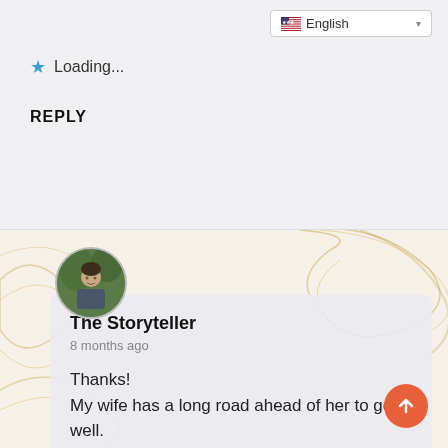Loading...
REPLY
[Figure (photo): Circular avatar photo of a man outdoors with trees in background]
The Storyteller
8 months ago
Thanks!
My wife has a long road ahead of her to get well.